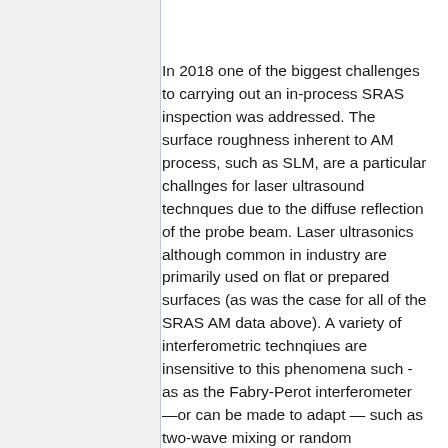In 2018 one of the biggest challenges to carrying out an in-process SRAS inspection was addressed. The surface roughness inherent to AM process, such as SLM, are a particular challnges for laser ultrasound technques due to the diffuse reflection of the probe beam. Laser ultrasonics although common in industry are primarily used on flat or prepared surfaces (as was the case for all of the SRAS AM data above). A variety of interferometric technqiues are insensitive to this phenomena such - as as the Fabry-Perot interferometer —or can be made to adapt — such as two-wave mixing or random quadrature demodulation, however in-house solution known as the speckle knife edge detector (SKED) has been devloped.